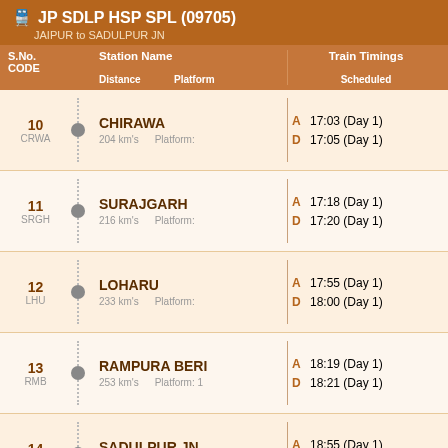JP SDLP HSP SPL (09705)
JAIPUR to SADULPUR JN
| S.No. CODE | Station Name / Distance / Platform | Train Timings Scheduled |
| --- | --- | --- |
| 10 CRWA | CHIRAWA
204 km's  Platform: | A 17:03 (Day 1)
D 17:05 (Day 1) |
| 11 SRGH | SURAJGARH
216 km's  Platform: | A 17:18 (Day 1)
D 17:20 (Day 1) |
| 12 LHU | LOHARU
233 km's  Platform: | A 17:55 (Day 1)
D 18:00 (Day 1) |
| 13 RMB | RAMPURA BERI
253 km's  Platform: 1 | A 18:19 (Day 1)
D 18:21 (Day 1) |
| 14 SDLP | SADULPUR JN
283 km's  Platform: | A 18:55 (Day 1)
D Destination (Day 1) |
Legends: S.No.=Stoppage Number, A=Arrival, D=Departure
Help | Contact Us | About
©2022 Trippozo.